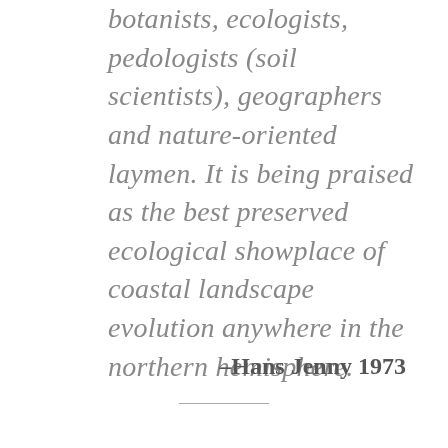botanists, ecologists, pedologists (soil scientists), geographers and nature-oriented laymen. It is being praised as the best preserved ecological showplace of coastal landscape evolution anywhere in the northern hemisphere.
–Hans Jenny 1973